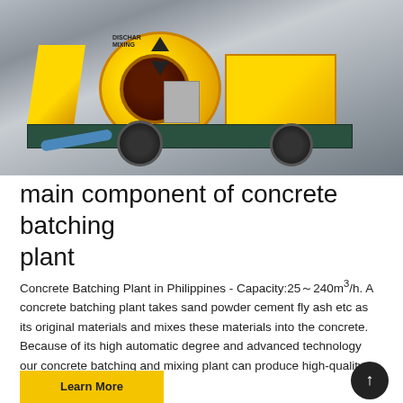[Figure (photo): Yellow concrete batching plant / mixer pump machine on a wheeled platform, parked in an industrial yard. The large yellow drum mixer with a dark circular opening is prominent, with text 'DISCHAR MIXING' visible. A blue accent stripe is on the right equipment body. The platform is teal/dark green and has large black rubber tires.]
main component of concrete batching plant
Concrete Batching Plant in Philippines - Capacity:25～240m³/h. A concrete batching plant takes sand powder cement fly ash etc as its original materials and mixes these materials into the concrete. Because of its high automatic degree and advanced technology our concrete batching and mixing plant can produce high-quality concrete.
Learn More